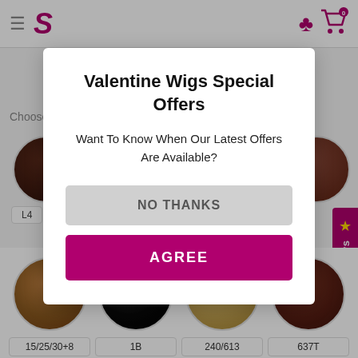[Figure (screenshot): E-commerce website background showing navigation bar with hamburger menu, logo, heart and cart icons, wig color swatches, and a Reviews tab]
Valentine Wigs Special Offers
Want To Know When Our Latest Offers Are Available?
NO THANKS
AGREE